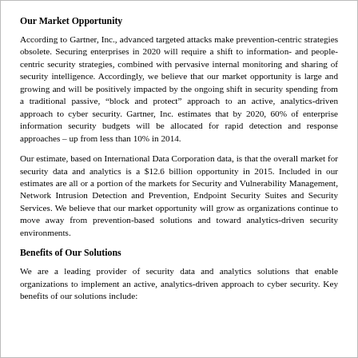Our Market Opportunity
According to Gartner, Inc., advanced targeted attacks make prevention-centric strategies obsolete. Securing enterprises in 2020 will require a shift to information- and people-centric security strategies, combined with pervasive internal monitoring and sharing of security intelligence. Accordingly, we believe that our market opportunity is large and growing and will be positively impacted by the ongoing shift in security spending from a traditional passive, “block and protect” approach to an active, analytics-driven approach to cyber security. Gartner, Inc. estimates that by 2020, 60% of enterprise information security budgets will be allocated for rapid detection and response approaches – up from less than 10% in 2014.
Our estimate, based on International Data Corporation data, is that the overall market for security data and analytics is a $12.6 billion opportunity in 2015. Included in our estimates are all or a portion of the markets for Security and Vulnerability Management, Network Intrusion Detection and Prevention, Endpoint Security Suites and Security Services. We believe that our market opportunity will grow as organizations continue to move away from prevention-based solutions and toward analytics-driven security environments.
Benefits of Our Solutions
We are a leading provider of security data and analytics solutions that enable organizations to implement an active, analytics-driven approach to cyber security. Key benefits of our solutions include: